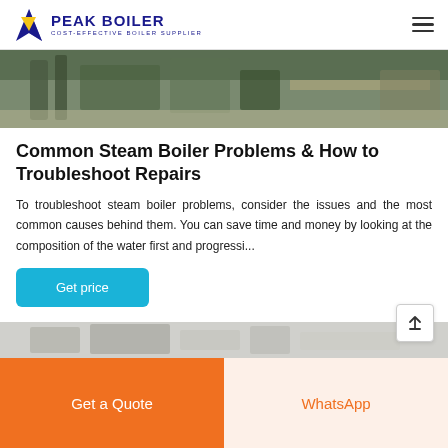PEAK BOILER - COST-EFFECTIVE BOILER SUPPLIER
[Figure (photo): Top portion of a boiler/industrial equipment installation photo showing pipes and machinery in a facility]
Common Steam Boiler Problems & How to Troubleshoot Repairs
To troubleshoot steam boiler problems, consider the issues and the most common causes behind them. You can save time and money by looking at the composition of the water first and progressi...
[Figure (photo): Partial bottom image of what appears to be boiler or industrial equipment components]
Get price
Get a Quote
WhatsApp